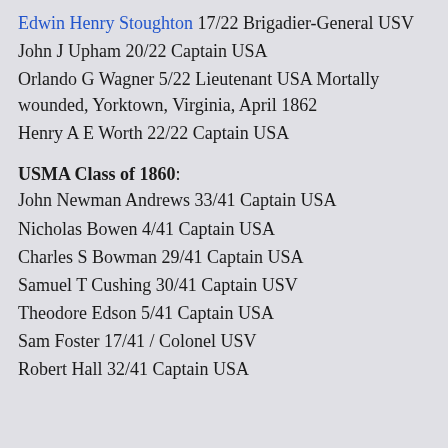Edwin Henry Stoughton 17/22 Brigadier-General USV
John J Upham 20/22 Captain USA
Orlando G Wagner 5/22 Lieutenant USA Mortally wounded, Yorktown, Virginia, April 1862
Henry A E Worth 22/22 Captain USA
USMA Class of 1860:
John Newman Andrews 33/41 Captain USA
Nicholas Bowen 4/41 Captain USA
Charles S Bowman 29/41 Captain USA
Samuel T Cushing 30/41 Captain USV
Theodore Edson 5/41 Captain USA
Sam Foster 17/41 / Colonel USV
Robert Hall 32/41 Captain USA